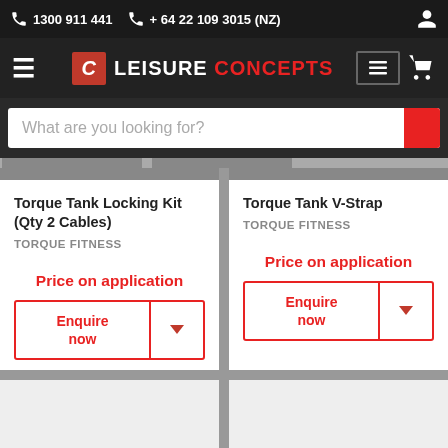1300 911 441  + 64 22 109 3015 (NZ)
[Figure (logo): Leisure Concepts logo with red L icon and white/red text on dark nav bar]
What are you looking for?
Torque Tank Locking Kit (Qty 2 Cables)
TORQUE FITNESS
Price on application
Enquire now
Torque Tank V-Strap
TORQUE FITNESS
Price on application
Enquire now